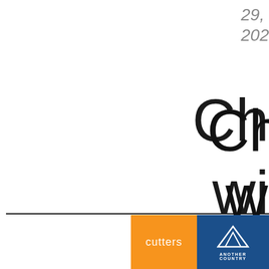29, 202
Ch
wi
we
the
[Figure (logo): Cutters logo (orange square with white text 'cutters') and Another Country logo (blue square with white mountain/triangle icon and text 'ANOTHER COUNTRY')]